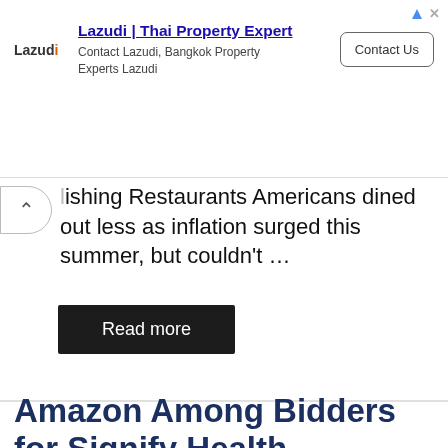[Figure (other): Advertisement banner for Lazudi Thai Property Expert with logo, title, subtitle, and Contact Us button]
lishing Restaurants Americans dined out less as inflation surged this summer, but couldn't …
Read more
Amazon Among Bidders for Signify Health
August 23, 2022 by Tolu Lopez